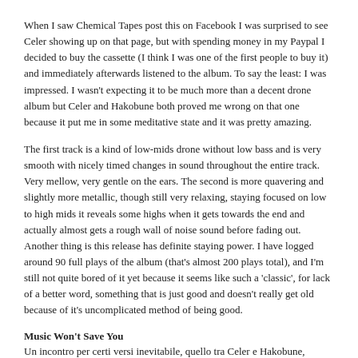When I saw Chemical Tapes post this on Facebook I was surprised to see Celer showing up on that page, but with spending money in my Paypal I decided to buy the cassette (I think I was one of the first people to buy it) and immediately afterwards listened to the album. To say the least: I was impressed. I wasn't expecting it to be much more than a decent drone album but Celer and Hakobune both proved me wrong on that one because it put me in some meditative state and it was pretty amazing.
The first track is a kind of low-mids drone without low bass and is very smooth with nicely timed changes in sound throughout the entire track. Very mellow, very gentle on the ears. The second is more quavering and slightly more metallic, though still very relaxing, staying focused on low to high mids it reveals some highs when it gets towards the end and actually almost gets a rough wall of noise sound before fading out. Another thing is this release has definite staying power. I have logged around 90 full plays of the album (that's almost 200 plays total), and I'm still not quite bored of it yet because it seems like such a 'classic', for lack of a better word, something that is just good and doesn't really get old because of it's uncomplicated method of being good.
Music Won't Save You
Un incontro per certi versi inevitabile, quello tra Celer e Hakobune, agevolato anche dall'attuale residenza giapponese di entrambi. C'è, infatti, qualcosa che trascende la prolificità delle rispettive produzioni di partiture ambientali ad accomunare l'artista Will Thomas Long e Takahiro Yorifuji: la capacità di declinare il loro lavoro di sperimentazione e modulazione sonora secondo sensibilità che cercano di catturare, rispettivamente, la fumevolante istintuale delle emozioni e sorsi di un palpitante